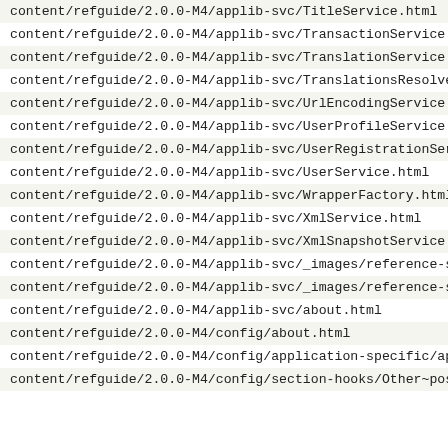content/refguide/2.0.0-M4/applib-svc/TitleService.html
content/refguide/2.0.0-M4/applib-svc/TransactionService.html
content/refguide/2.0.0-M4/applib-svc/TranslationService.html
content/refguide/2.0.0-M4/applib-svc/TranslationsResolver.ht
content/refguide/2.0.0-M4/applib-svc/UrlEncodingService.html
content/refguide/2.0.0-M4/applib-svc/UserProfileService.html
content/refguide/2.0.0-M4/applib-svc/UserRegistrationService
content/refguide/2.0.0-M4/applib-svc/UserService.html
content/refguide/2.0.0-M4/applib-svc/WrapperFactory.html
content/refguide/2.0.0-M4/applib-svc/XmlService.html
content/refguide/2.0.0-M4/applib-svc/XmlSnapshotService.html
content/refguide/2.0.0-M4/applib-svc/_images/reference-servi
content/refguide/2.0.0-M4/applib-svc/_images/reference-servi
content/refguide/2.0.0-M4/applib-svc/about.html
content/refguide/2.0.0-M4/config/about.html
content/refguide/2.0.0-M4/config/application-specific/applic
content/refguide/2.0.0-M4/config/section-hooks/Other~post.ht